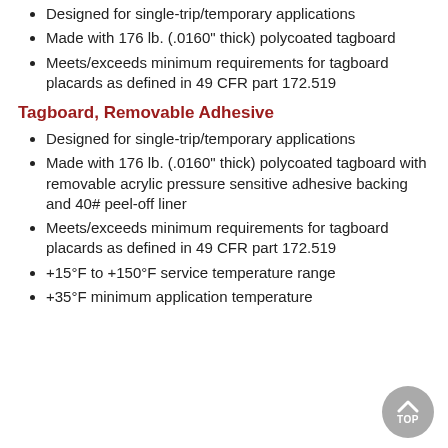Designed for single-trip/temporary applications
Made with 176 lb. (.0160" thick) polycoated tagboard
Meets/exceeds minimum requirements for tagboard placards as defined in 49 CFR part 172.519
Tagboard, Removable Adhesive
Designed for single-trip/temporary applications
Made with 176 lb. (.0160" thick) polycoated tagboard with removable acrylic pressure sensitive adhesive backing and 40# peel-off liner
Meets/exceeds minimum requirements for tagboard placards as defined in 49 CFR part 172.519
+15°F to +150°F service temperature range
+35°F minimum application temperature